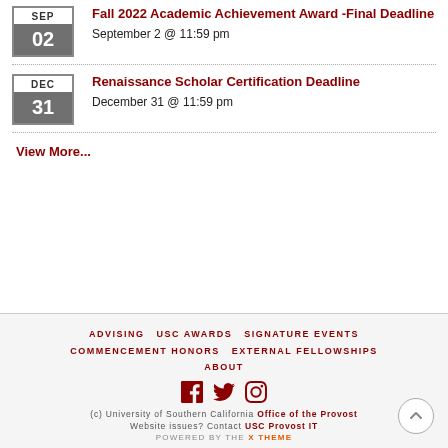Fall 2022 Academic Achievement Award -Final Deadline
September 2 @ 11:59 pm
Renaissance Scholar Certification Deadline
December 31 @ 11:59 pm
View More...
ADVISING  USC AWARDS  SIGNATURE EVENTS  COMMENCEMENT HONORS  EXTERNAL FELLOWSHIPS  ABOUT
(c) University of Southern California Office of the Provost
Website issues? Contact USC Provost IT
POWERED BY THE X THEME